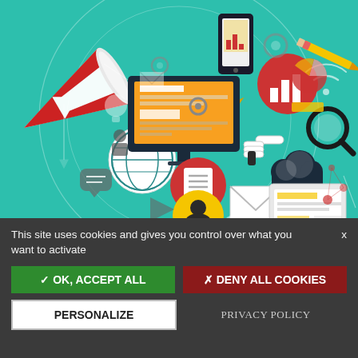[Figure (illustration): Digital marketing flat design infographic illustration on teal/green background. Features a large megaphone in the lower-left pointing to a circular arrangement of digital marketing icons: smartphone, monitor/computer screen, globe, gears, pencils, bar chart, pie chart, magnifying glass, cloud, envelope/email, user profile, document, speech bubbles, tablet, and various arrows and connection lines. Icons are in red, yellow/gold, dark navy, and white on the teal background.]
This site uses cookies and gives you control over what you want to activate
✓ OK, ACCEPT ALL
✗ DENY ALL COOKIES
PERSONALIZE
PRIVACY POLICY